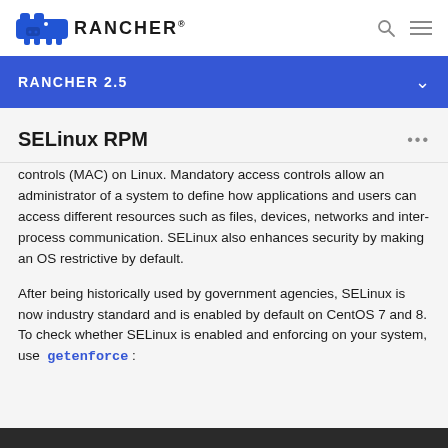RANCHER
RANCHER 2.5
SELinux RPM
controls (MAC) on Linux. Mandatory access controls allow an administrator of a system to define how applications and users can access different resources such as files, devices, networks and inter-process communication. SELinux also enhances security by making an OS restrictive by default.
After being historically used by government agencies, SELinux is now industry standard and is enabled by default on CentOS 7 and 8. To check whether SELinux is enabled and enforcing on your system, use getenforce :